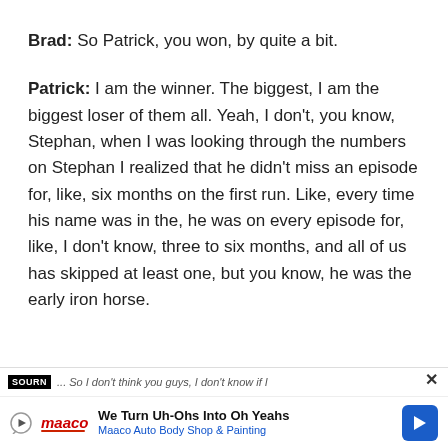Brad: So Patrick, you won, by quite a bit.
Patrick: I am the winner. The biggest, I am the biggest loser of them all. Yeah, I don't, you know, Stephan, when I was looking through the numbers on Stephan I realized that he didn't miss an episode for, like, six months on the first run. Like, every time his name was in the, he was on every episode for, like, I don't know, three to six months, and all of us has skipped at least one, but you know, he was the early iron horse.
SOURN ... So I don't think you guys, I don't know if I
We Turn Uh-Ohs Into Oh Yeahs | Maaco Auto Body Shop & Painting